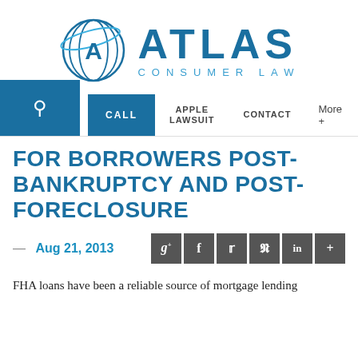[Figure (logo): Atlas Consumer Law logo with globe icon and large ATLAS text with CONSUMER LAW subtitle]
CALL  APPLE LAWSUIT  CONTACT  More +
FOR BORROWERS POST-BANKRUPTCY AND POST-FORECLOSURE
— Aug 21, 2013
FHA loans have been a reliable source of mortgage lending